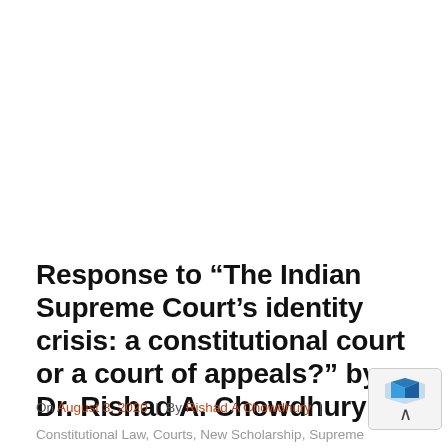Response to “The Indian Supreme Court’s identity crisis: a constitutional court or a court of appeals?” by Dr. Rishad A. Chowdhury
On August 3, 2020 | By Rishad A Chowdhury |
Constitutional Law, Courts, New Scholarship, Supreme